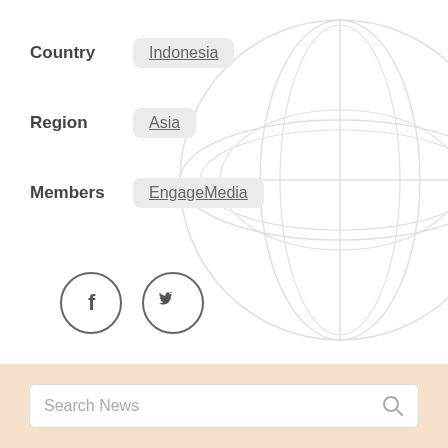Country: Indonesia
Region: Asia
Members: EngageMedia
[Figure (illustration): Social media icons: Facebook (f) and Twitter (bird) in outlined circles]
Search News